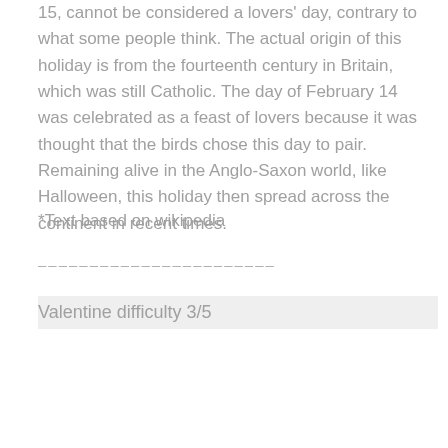15, cannot be considered a lovers' day, contrary to what some people think. The actual origin of this holiday is from the fourteenth century in Britain, which was still Catholic. The day of February 14 was celebrated as a feast of lovers because it was thought that the birds chose this day to pair. Remaining alive in the Anglo-Saxon world, like Halloween, this holiday then spread across the continent in recent times.
*Text based on wikipedia
------------------------
Valentine difficulty 3/5